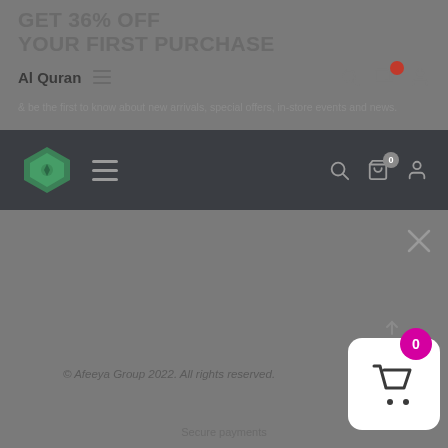GET 36% OFF YOUR FIRST PURCHASE
& be the first to know about new arrivals, special offers, in-store events and news.
Al Quran
[Figure (screenshot): Dark navigation bar with green diamond logo, hamburger menu, search, cart (0), and user icons]
[Figure (infographic): Shopping cart widget with magenta badge showing 0, white rounded rectangle box with basket icon]
© Afeeya Group 2022. All rights reserved.
Secure payments